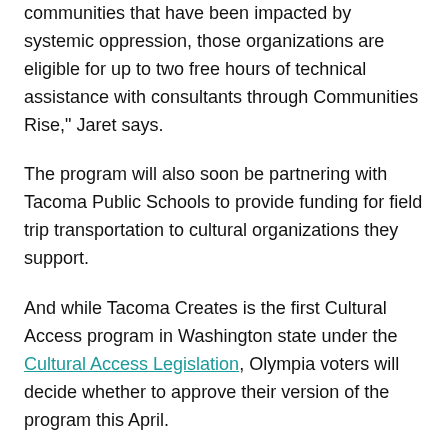communities that have been impacted by systemic oppression, those organizations are eligible for up to two free hours of technical assistance with consultants through Communities Rise," Jaret says.
The program will also soon be partnering with Tacoma Public Schools to provide funding for field trip transportation to cultural organizations they support.
And while Tacoma Creates is the first Cultural Access program in Washington state under the Cultural Access Legislation, Olympia voters will decide whether to approve their version of the program this April.